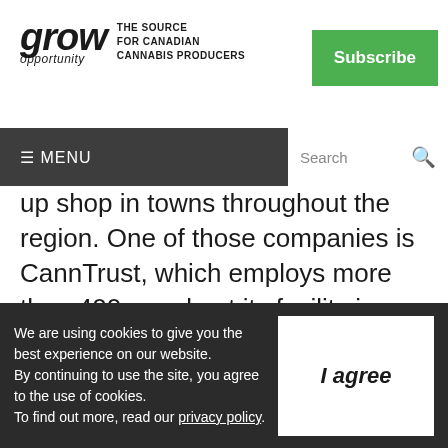grow opportunity — THE SOURCE FOR CANADIAN CANNABIS PRODUCERS | Subscribe
≡ MENU | Search
up shop in towns throughout the region. One of those companies is CannTrust, which employs more than 400 people at its facility in Welland; and approximately 700 in total across Ontario when you include the company's facilities in Vaughan.
We are using cookies to give you the best experience on our website. By continuing to use the site, you agree to the use of cookies. To find out more, read our privacy policy.